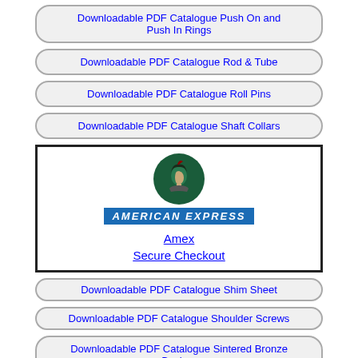Downloadable PDF Catalogue Push On and Push In Rings
Downloadable PDF Catalogue Rod & Tube
Downloadable PDF Catalogue Roll Pins
Downloadable PDF Catalogue Shaft Collars
[Figure (logo): American Express logo with centurion head icon, AMERICAN EXPRESS wordmark, and links 'Amex Secure Checkout']
Downloadable PDF Catalogue Shim Sheet
Downloadable PDF Catalogue Shoulder Screws
Downloadable PDF Catalogue Sintered Bronze Bushes
Downloadable PDF Catalogue Snap Rings